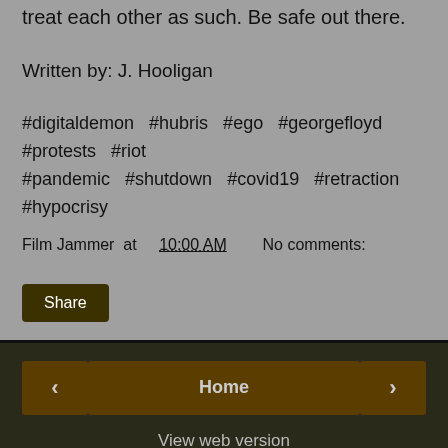treat each other as such.  Be safe out there.
Written by: J. Hooligan
#digitaldemon  #hubris  #ego  #georgefloyd  #protests  #riot #pandemic  #shutdown  #covid19  #retraction  #hypocrisy
Film Jammer at 10:00 AM    No comments:
Share
Home
View web version
ABOUT ME
Film Jammer
View my complete profile